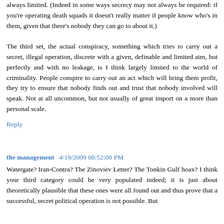always limited. (Indeed in some ways secrecy may not always be required: if you're operating death squads it doesn't really matter if people know who's in them, given that there's nobody they can go to about it.)
The third set, the actual conspiracy, something which tries to carry out a secret, illegal operation, discrete with a given, definable and limited aim, but perfectly and with no leakage, is I think largely limited to the world of criminality. People conspire to carry out an act which will bring them profit, they try to ensure that nobody finds out and trust that nobody involved will speak. Not at all uncommon, but not usually of great import on a more than personal scale.
Reply
the management  4/19/2009 08:52:00 PM
Watergate? Iran-Contra? The Zinoviev Letter? The Tonkin Gulf hoax? I think your third category could be very populated indeed; it is just about theoretically plausible that these ones were all found out and thus prove that a successful, secret political operation is not possible. But